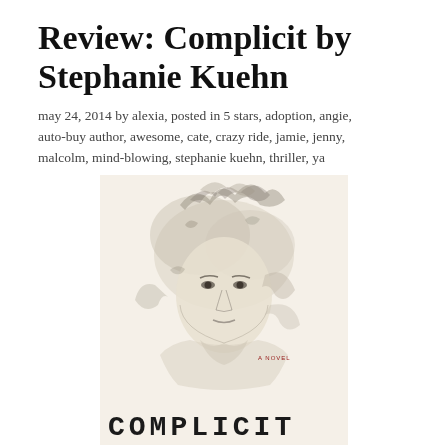Review: Complicit by Stephanie Kuehn
may 24, 2014 by alexia, posted in 5 stars, adoption, angie, auto-buy author, awesome, cate, crazy ride, jamie, jenny, malcolm, mind-blowing, stephanie kuehn, thriller, ya
[Figure (illustration): Book cover of 'Complicit' by Stephanie Kuehn showing a ghostly, smoky illustration of a young person's face in black and white pencil sketch style. Text at bottom reads 'COMPLICIT' in large block letters, and 'A NOVEL' appears in small text near middle-right.]